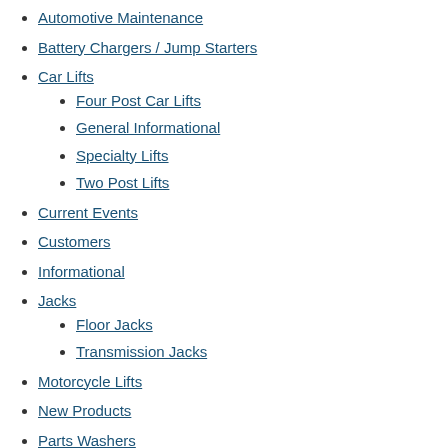Automotive Maintenance
Battery Chargers / Jump Starters
Car Lifts
Four Post Car Lifts
General Informational
Specialty Lifts
Two Post Lifts
Current Events
Customers
Informational
Jacks
Floor Jacks
Transmission Jacks
Motorcycle Lifts
New Products
Parts Washers